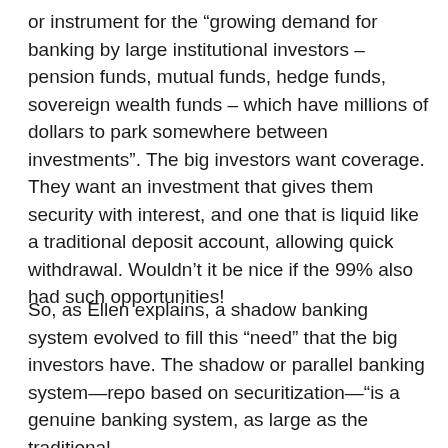or instrument for the “growing demand for banking by large institutional investors – pension funds, mutual funds, hedge funds, sovereign wealth funds – which have millions of dollars to park somewhere between investments”. The big investors want coverage. They want an investment that gives them security with interest, and one that is liquid like a traditional deposit account, allowing quick withdrawal. Wouldn’t it be nice if the 99% also had such opportunities!
So, as Ellen explains, a shadow banking system evolved to fill this “need” that the big investors have. The shadow or parallel banking system—repo based on securitization—“is a genuine banking system, as large as the traditional,